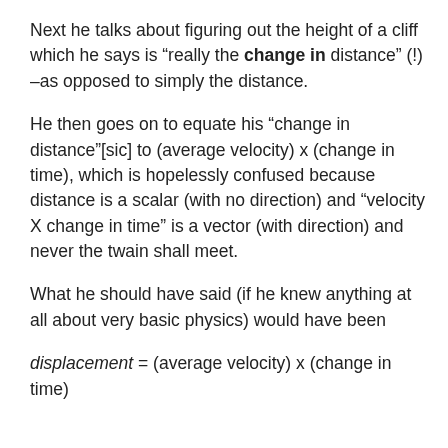Next he talks about figuring out the height of a cliff which he says is “really the change in distance” (!) –as opposed to simply the distance.
He then goes on to equate his “change in distance”[sic] to (average velocity) x (change in time), which is hopelessly confused because distance is a scalar (with no direction) and “velocity X change in time” is a vector (with direction) and never the twain shall meet.
What he should have said (if he knew anything at all about very basic physics) would have been